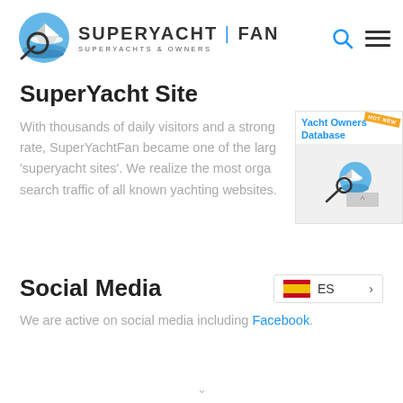[Figure (logo): SuperYachtFan logo with magnifying glass over water/yacht illustration and text 'SUPERYACHT | FAN SUPERYACHTS & OWNERS']
SuperYacht Site
With thousands of daily visitors and a strong rate, SuperYachtFan became one of the large 'superyacht sites'. We realize the most organ search traffic of all known yachting websites.
[Figure (illustration): Yacht Owners Database promotional panel with SuperYachtFan logo and HOT/NEW badge]
Social Media
[Figure (other): Language selector showing Spanish flag (ES) with arrow]
We are active on social media including Facebook.